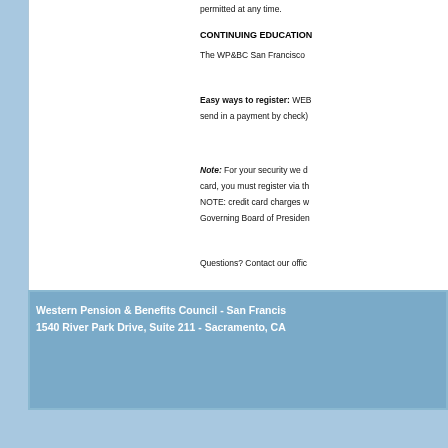permitted at any time.
CONTINUING EDUCATION
The WP&BC San Francisco
Easy ways to register: WEB... send in a payment by check)
Note: For your security we d... card, you must register via th... NOTE: credit card charges w... Governing Board of Presiden...
Questions? Contact our offic...
Western Pension & Benefits Council - San Francis... 1540 River Park Drive, Suite 211 - Sacramento, CA